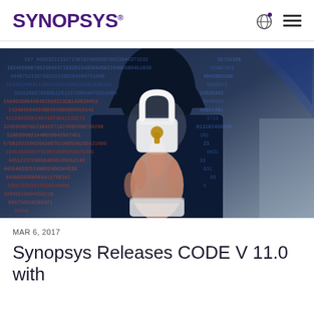Synopsys
[Figure (photo): A person in a dark hoodie touching a glowing padlock icon overlaid on a field of binary/numeric code, suggesting cybersecurity theme.]
MAR 6, 2017
Synopsys Releases CODE V 11.0 with